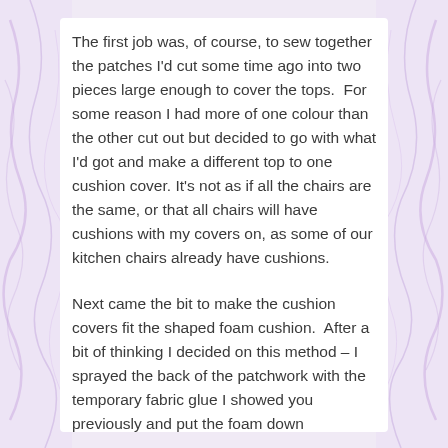The first job was, of course, to sew together the patches I'd cut some time ago into two pieces large enough to cover the tops.  For some reason I had more of one colour than the other cut out but decided to go with what I'd got and make a different top to one cushion cover. It's not as if all the chairs are the same, or that all chairs will have cushions with my covers on, as some of our kitchen chairs already have cushions.
Next came the bit to make the cushion covers fit the shaped foam cushion.  After a bit of thinking I decided on this method – I sprayed the back of the patchwork with the temporary fabric glue I showed you previously and put the foam down